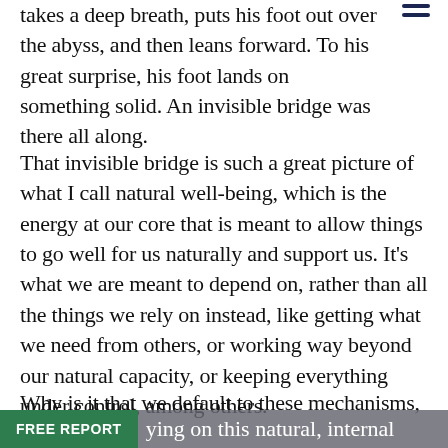takes a deep breath, puts his foot out over the abyss, and then leans forward. To his great surprise, his foot lands on something solid. An invisible bridge was there all along.
That invisible bridge is such a great picture of what I call natural well-being, which is the energy at our core that is meant to allow things to go well for us naturally and support us. It’s what we are meant to depend on, rather than all the things we rely on instead, like getting what we need from others, or working way beyond our natural capacity, or keeping everything under control, among others.
Why is it that we default to these mechanisms, rather than relying on this natural, internal